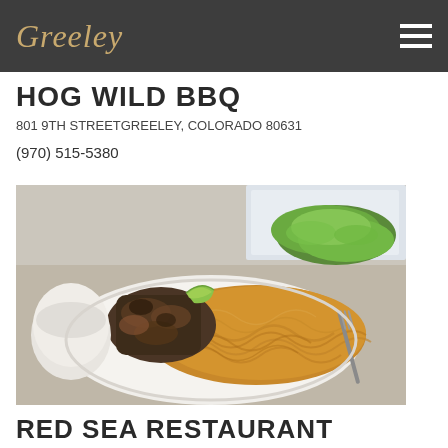Greeley
HOG WILD BBQ
801 9TH STREETGREELEY, COLORADO 80631
(970) 515-5380
[Figure (photo): A plate of noodles with grilled meat, lime wedge, and a side of shredded lettuce on a table with fork and white dishes]
RED SEA RESTAURANT